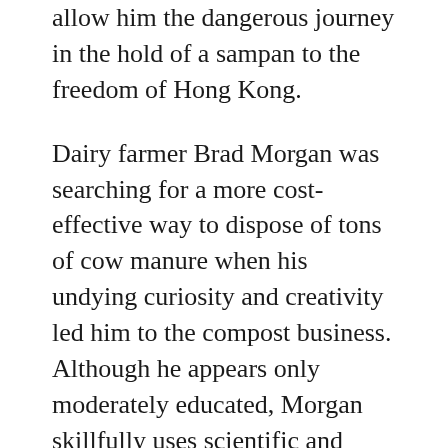allow him the dangerous journey in the hold of a sampan to the freedom of Hong Kong.
Dairy farmer Brad Morgan was searching for a more cost-effective way to dispose of tons of cow manure when his undying curiosity and creativity led him to the compost business. Although he appears only moderately educated, Morgan skillfully uses scientific and business experts from far and wide to turn his farm into one of the largest and best composting businesses around.
Investment banker Frank Hanna describes how his father, rather than guiding his sons to sports or leisure on the weekends, would take them to various properties the family owned